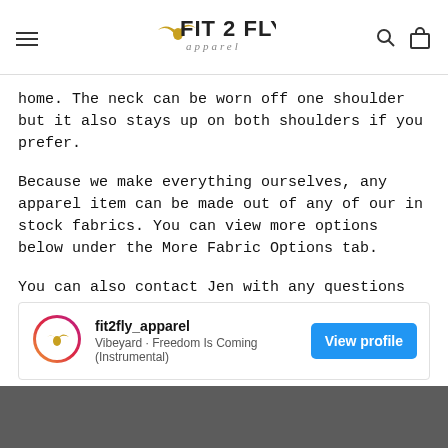FIT 2 FLY apparel
home. The neck can be worn off one shoulder but it also stays up on both shoulders if you prefer.
Because we make everything ourselves, any apparel item can be made out of any of our in stock fabrics. You can view more options below under the More Fabric Options tab.
You can also contact Jen with any questions or to view any fabrics up close.
[Figure (screenshot): Instagram widget showing fit2fly_apparel profile with Vibeyard Freedom Is Coming (Instrumental) and a blue View profile button]
[Figure (photo): Dark grey/charcoal fabric or surface, bottom strip of page]